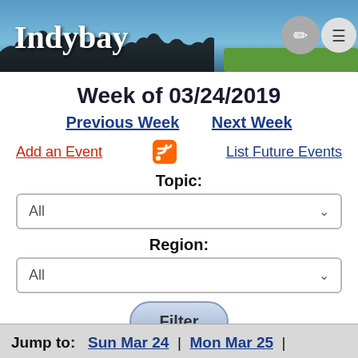[Figure (screenshot): Indybay website header banner with logo, silhouette of crowd, edit and menu icons]
Week of 03/24/2019
Previous Week   Next Week
Add an Event   [RSS icon]   List Future Events
Topic:
All (dropdown)
Region:
All (dropdown)
Filter (button)
Jump to:   Sun Mar 24 | Mon Mar 25 |